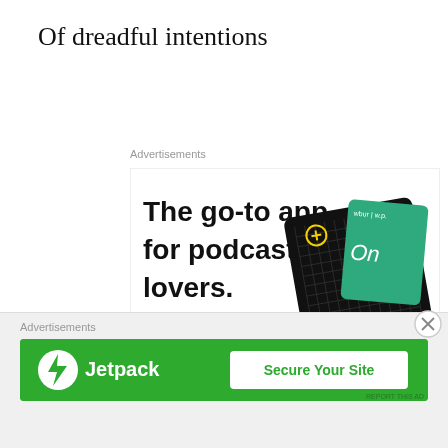Of dreadful intentions
Advertisements
[Figure (advertisement): Pocket Casts app advertisement. Large bold text reads 'The go-to app for podcast lovers.' with a red 'Download now' link. Shows podcast cover art cards including 99% Invisible and The Daily. Pocket Casts logo at bottom.]
Advertisements
[Figure (advertisement): Jetpack advertisement on green background with white Jetpack logo and lightning bolt icon on left, and a white 'Secure Your Site' button on right.]